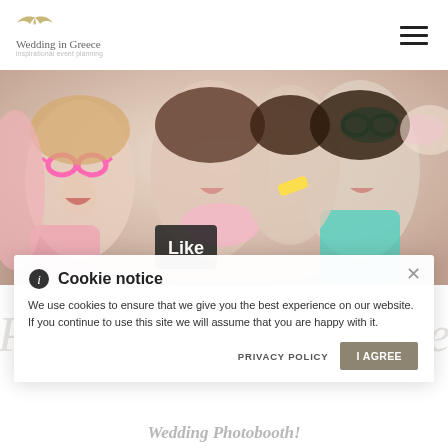Wedding in Greece — inspirational event planning
[Figure (photo): Group of wedding guests laughing and posing at a photobooth, wearing fun props including pink heart-shaped glasses and colorful accessories]
ℹ Cookie notice
We use cookies to ensure that we give you the best experience on our website. If you continue to use this site we will assume that you are happy with it.
PRIVACY POLICY
I AGREE
Well, we are here to help you and introduce you the new fun loving, wedding trend. The Wedding Photobooth!